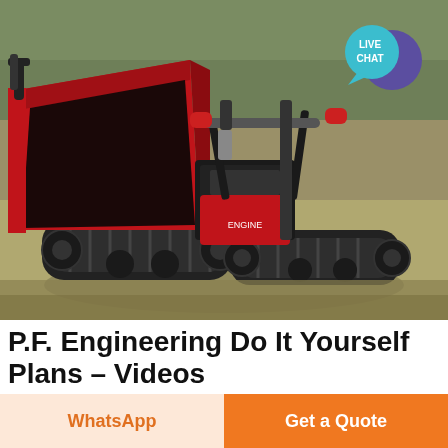[Figure (photo): A red tracked mini dumper/transporter machine with rubber tracks, a tipping skip/bucket in red, engine in the center, and handlebar controls on grass terrain. A live chat bubble overlay appears in the top-right corner of the image.]
P.F. Engineering Do It Yourself Plans – Videos
WhatsApp
Get a Quote